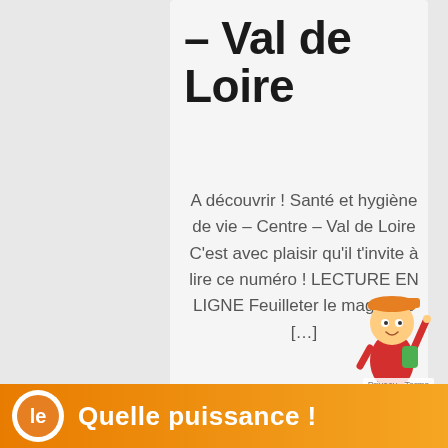– Val de Loire
A découvrir ! Santé et hygiène de vie – Centre – Val de Loire C'est avec plaisir qu'il t'invite à lire ce numéro ! LECTURE EN LIGNE Feuilleter le magazine […]
1 NOVEMBRE 2020
CENTRE VAL DE LOIRE
[Figure (other): Cartoon mascot character — child with orange cap, red shirt, backpack, pointing upward]
[Figure (other): Orange advertisement banner with logo and text 'Quelle puissance !']